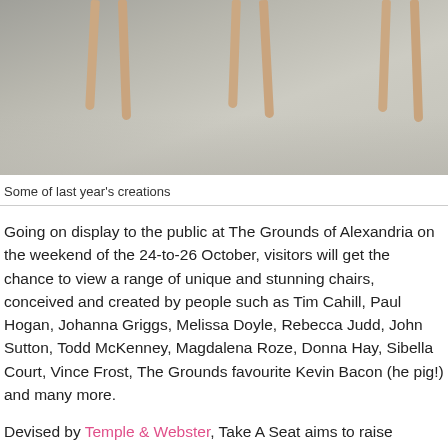[Figure (photo): Photo of chairs with wooden legs on a grey concrete floor, seen from above/angle, showing only the legs and floor area.]
Some of last year’s creations
Going on display to the public at The Grounds of Alexandria on the weekend of the 24-to-26 October, visitors will get the chance to view a range of unique and stunning chairs, conceived and created by people such as Tim Cahill, Paul Hogan, Johanna Griggs, Melissa Doyle, Rebecca Judd, John Sutton, Todd McKenney, Magdalena Roze, Donna Hay, Sibella Court, Vince Frost, The Grounds favourite Kevin Bacon (he pig!) and many more.
Devised by Temple & Webster, Take A Seat aims to raise awareness and provide vital funds to support the families of Australian Defence Force personnel. For those wanting to take their favourite creation home with them, the chairs will also be available to purchase on the Temple & Webster website. The sale will run from